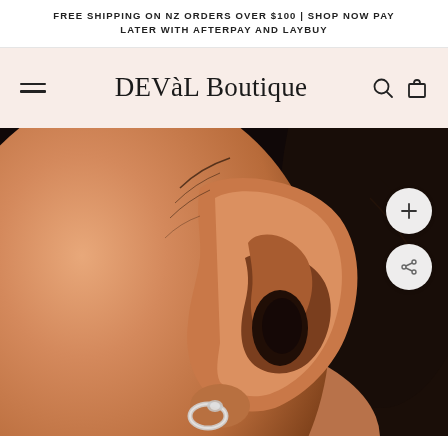FREE SHIPPING ON NZ ORDERS OVER $100 | SHOP NOW PAY LATER WITH AFTERPAY AND LAYBUY
DEVàL Boutique
[Figure (photo): Close-up photograph of a woman's ear showing a silver hoop earring. The model has brown skin and dark hair pulled back. Two circular buttons overlay the right side: a plus (+) button and a share button.]